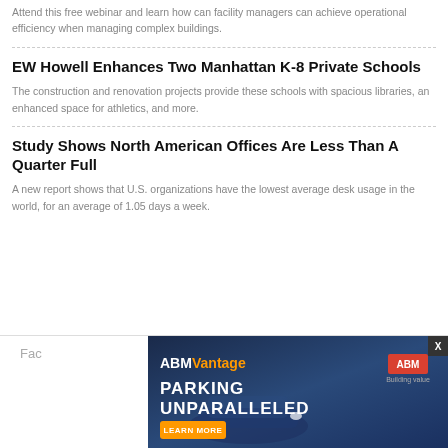Attend this free webinar and learn how can facility managers can achieve operational efficiency when managing complex buildings.
EW Howell Enhances Two Manhattan K-8 Private Schools
The construction and renovation projects provide these schools with spacious libraries, an enhanced space for athletics, and more.
Study Shows North American Offices Are Less Than A Quarter Full
A new report shows that U.S. organizations have the lowest average desk usage in the world, for an average of 1.05 days a week.
[Figure (other): ABM Vantage advertisement banner: PARKING UNPARALLELED with Learn More button and ABM logo]